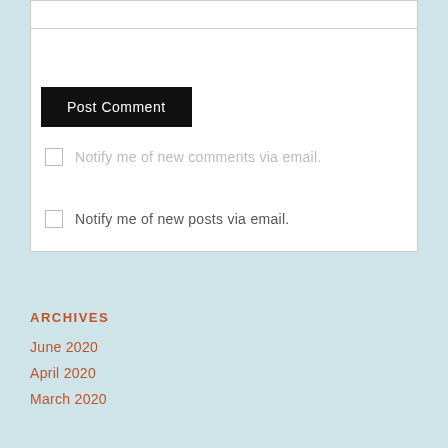Post Comment
Notify me of new comments via email.
Notify me of new posts via email.
ARCHIVES
June 2020
April 2020
March 2020